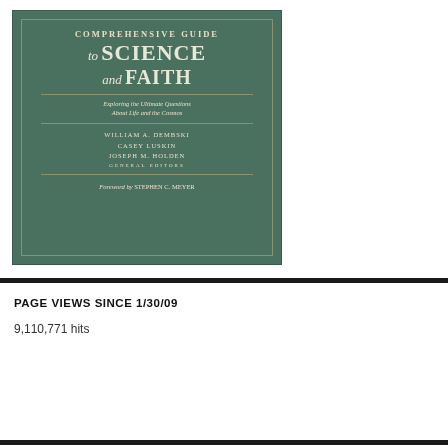[Figure (illustration): Book cover of 'Comprehensive Guide to Science and Faith: Exploring the Ultimate Questions About Life and the Cosmos' by William A. Dembski, Casey Luskin, Joseph M. Holden (General Editors), Foreword by Stephen C. Meyer. Green cover with white serif typography.]
PAGE VIEWS SINCE 1/30/09
9,110,771 hits